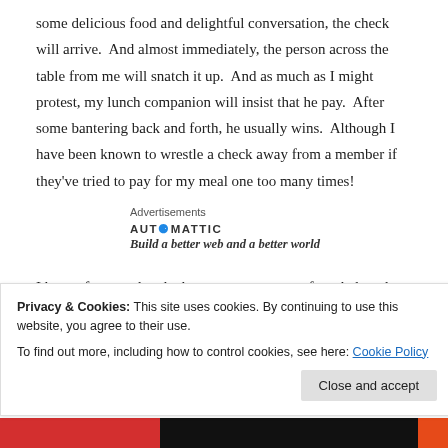some delicious food and delightful conversation, the check will arrive.  And almost immediately, the person across the table from me will snatch it up.  And as much as I might protest, my lunch companion will insist that he pay.  After some bantering back and forth, he usually wins.  Although I have been known to wrestle a check away from a member if they've tried to pay for my meal one too many times!
Advertisements
[Figure (logo): Automattic logo with tagline 'Build a better web and a better world']
I have often pondered what moves so many of our beloved members to so much generosity.  For I have seen much munificence lavished upon the
Privacy & Cookies: This site uses cookies. By continuing to use this website, you agree to their use.
To find out more, including how to control cookies, see here: Cookie Policy
Close and accept